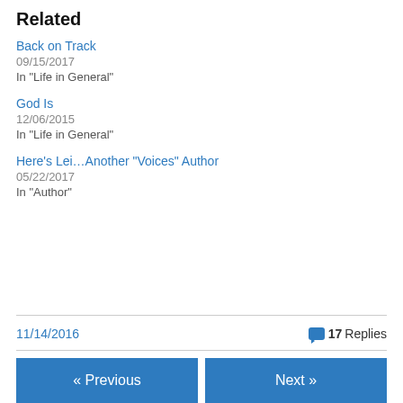Related
Back on Track
09/15/2017
In "Life in General"
God Is
12/06/2015
In "Life in General"
Here's Lei…Another "Voices" Author
05/22/2017
In "Author"
11/14/2016   17 Replies
« Previous   Next »